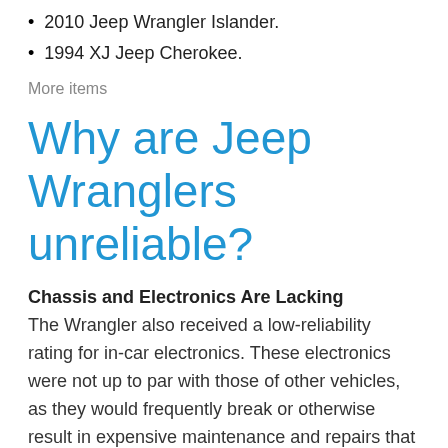2010 Jeep Wrangler Islander.
1994 XJ Jeep Cherokee.
More items
Why are Jeep Wranglers unreliable?
Chassis and Electronics Are Lacking
The Wrangler also received a low-reliability rating for in-car electronics. These electronics were not up to par with those of other vehicles, as they would frequently break or otherwise result in expensive maintenance and repairs that would take longer than average repairs.
How often do Jeeps